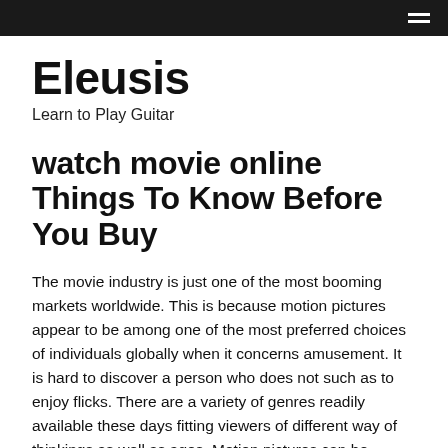Eleusis
Learn to Play Guitar
watch movie online Things To Know Before You Buy
The movie industry is just one of the most booming markets worldwide. This is because motion pictures appear to be among one of the most preferred choices of individuals globally when it concerns amusement. It is hard to discover a person who does not such as to enjoy flicks. There are a variety of genres readily available these days fitting viewers of different way of thinkings as well as ages. Motion pictures can be enjoyed at theatres as well as on television. One can additionally...